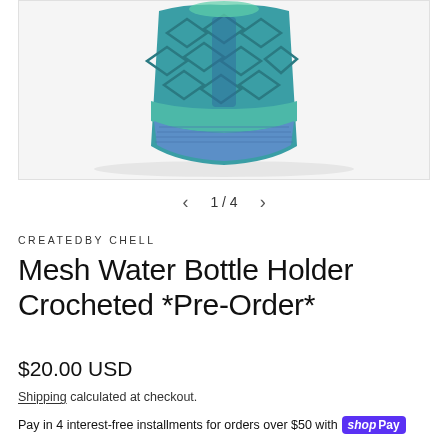[Figure (photo): Crocheted mesh water bottle holder in teal and blue yarn, shown against a white background. The holder has a net/diamond mesh pattern in the upper portion and ribbed banding at the bottom.]
1 / 4
CREATEDBY CHELL
Mesh Water Bottle Holder Crocheted *Pre-Order*
$20.00 USD
Shipping calculated at checkout.
Pay in 4 interest-free installments for orders over $50 with shop Pay